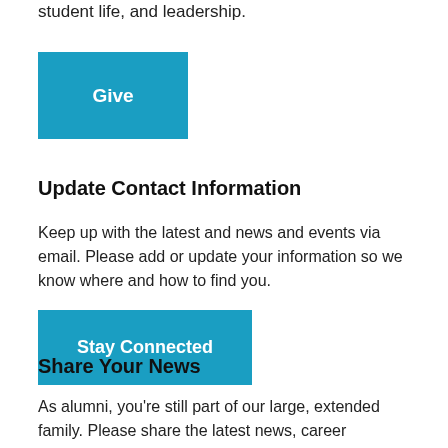student life, and leadership.
[Figure (other): Blue button labeled 'Give']
Update Contact Information
Keep up with the latest and news and events via email. Please add or update your information so we know where and how to find you.
[Figure (other): Blue button labeled 'Stay Connected']
Share Your News
As alumni, you're still part of our large, extended family. Please share the latest news, career milestones, engagements, marriages, births, and other updates; it makes us proud to hear